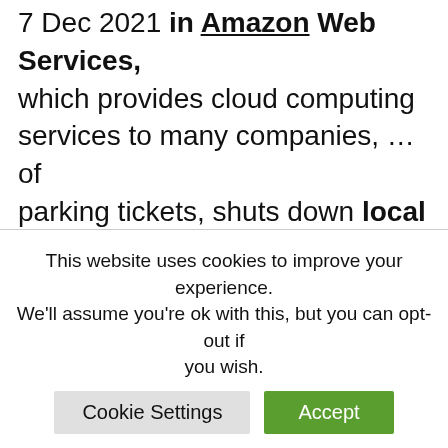7 Dec 2021 in Amazon Web Services, which provides cloud computing services to many companies, … of parking tickets, shuts down local services in Boston.
Amazon Flex
Start earning. Use your own vehicle to deliver packages for Amazon as a way of earning extra money to move you closer to your goals.
This website uses cookies to improve your experience. We'll assume you're ok with this, but you can opt-out if you wish.